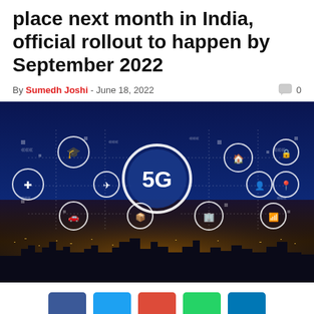place next month in India, official rollout to happen by September 2022
By Sumedh Joshi - June 18, 2022   0
[Figure (photo): 5G network connectivity illustration showing a city skyline at night with glowing lights, overlaid with a dark blue network diagram featuring icons for various connected services (education, medical, transport, aviation, home, buildings, location pin, WiFi) connected by dotted lines, with a central large '5G' circle in the middle.]
[Figure (other): Social media share buttons: Facebook (dark blue), Twitter (light blue), Google/Pinterest (red), WhatsApp (green), LinkedIn (blue)]